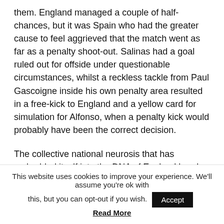them. England managed a couple of half-chances, but it was Spain who had the greater cause to feel aggrieved that the match went as far as a penalty shoot-out. Salinas had a goal ruled out for offside under questionable circumstances, whilst a reckless tackle from Paul Gascoigne inside his own penalty area resulted in a free-kick to England and a yellow card for simulation for Alfonso, when a penalty kick would probably have been the correct decision.
The collective national neurosis that has embedded itself into the DNA of England barely existed in 1996. True enough, they'd lost to West Germany in Turin by this means six years earlier, but this was no reason to
This website uses cookies to improve your experience. We'll assume you're ok with this, but you can opt-out if you wish. Accept Read More